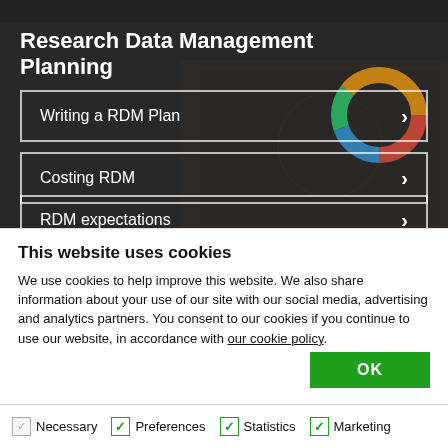Research Data Management Planning
Writing a RDM Plan
Costing RDM
RDM expectations
This website uses cookies
We use cookies to help improve this website. We also share information about your use of our site with our social media, advertising and analytics partners. You consent to our cookies if you continue to use our website, in accordance with our cookie policy.
OK
Necessary  Preferences  Statistics  Marketing